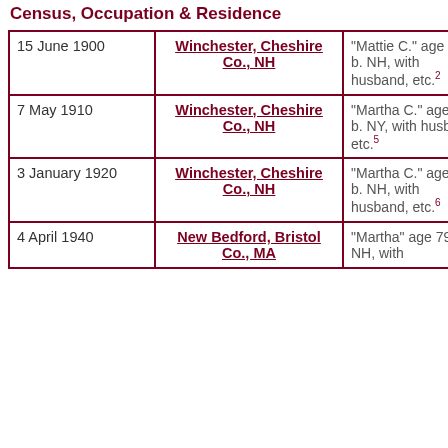Census, Occupation & Residence
| Date | Location | Details |
| --- | --- | --- |
| 15 June 1900 | Winchester, Cheshire Co., NH | "Mattie C." age 40, b. NH, with husband, etc.2 |
| 7 May 1910 | Winchester, Cheshire Co., NH | "Martha C." age 50, b. NY, with husband, etc.5 |
| 3 January 1920 | Winchester, Cheshire Co., NH | "Martha C." age 59, b. NH, with husband, etc.6 |
| 4 April 1940 | New Bedford, Bristol Co., MA | "Martha" age 79, b. NH, with |